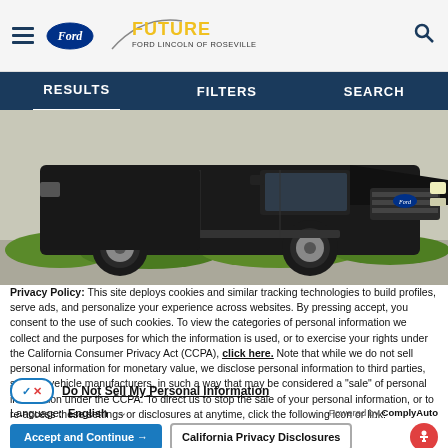Future Ford Lincoln of Roseville
RESULTS   FILTERS   SEARCH
[Figure (photo): Black Ford F-150 truck photographed from the front-left angle, parked outdoors with green shrubs visible at bottom.]
Privacy Policy: This site deploys cookies and similar tracking technologies to build profiles, serve ads, and personalize your experience across websites. By pressing accept, you consent to the use of such cookies. To view the categories of personal information we collect and the purposes for which the information is used, or to exercise your rights under the California Consumer Privacy Act (CCPA), click here. Note that while we do not sell personal information for monetary value, we disclose personal information to third parties, such as vehicle manufacturers, in such a way that may be considered a "sale" of personal information under the CCPA. To direct us to stop the sale of your personal information, or to re-access these settings or disclosures at anytime, click the following icon or link:
Do Not Sell My Personal Information
Language: English   Powered by ComplyAuto
Accept and Continue →   California Privacy Disclosures